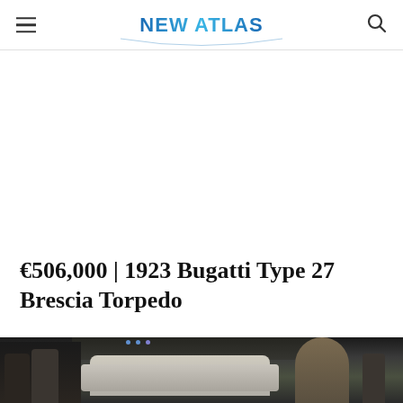NEW ATLAS
€506,000 | 1923 Bugatti Type 27 Brescia Torpedo
[Figure (photo): Photograph of a 1923 Bugatti Type 27 Brescia Torpedo on display inside what appears to be a grand hall or auction venue, with people standing around the vehicle. The car is viewed from an angle showing its open-top torpedo body style. The venue has arched architecture visible in the background with blue lights overhead.]